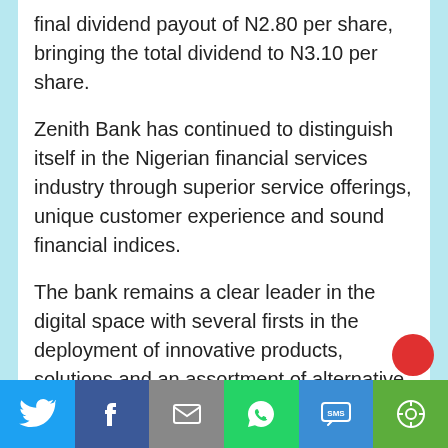final dividend payout of N2.80 per share, bringing the total dividend to N3.10 per share.
Zenith Bank has continued to distinguish itself in the Nigerian financial services industry through superior service offerings, unique customer experience and sound financial indices.
The bank remains a clear leader in the digital space with several firsts in the deployment of innovative products, solutions and an assortment of alternative channels that ensure convenience, speed and safety of transactions.In recognition of its track record of excellent performance, Zenith Bank was voted as Best Commercial Bank in
[Figure (infographic): Social media share toolbar with Twitter, Facebook, Email, WhatsApp, SMS, and More buttons in colored blocks at the bottom of the page]